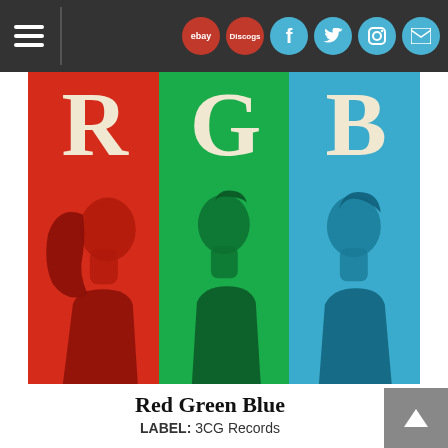Navigation bar with hamburger menu, eBay, Discogs, Facebook, Twitter, Instagram, Mail icons
[Figure (illustration): Album cover for 'Red Green Blue' showing three illustrated portraits of band members, each on a colored background panel: red (R), green (G), blue (B), with large letters R, G, B in cream/beige overlaid at the top of each panel.]
Red Green Blue
LABEL: 3CG Records